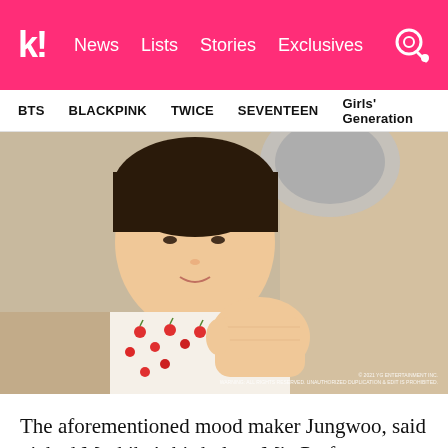k! News Lists Stories Exclusives
BTS BLACKPINK TWICE SEVENTEEN Girls' Generation
[Figure (photo): Young East Asian man wearing a white floral (cherry print) shirt, lying down and extending his fist toward the camera, with a helmet visible in the background. Image has a copyright watermark in the lower right corner.]
The aforementioned mood maker Jungwoo, said picked Mashiho's birthplace Mie Prefecture as the place he wants to visit in Japan the most. He wants to meet Mashiho's family once he